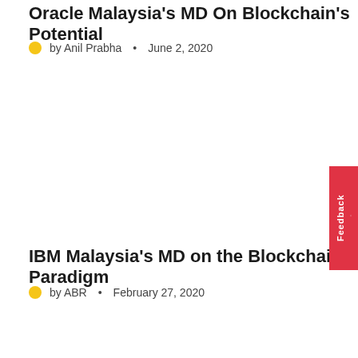Oracle Malaysia's MD On Blockchain's Potential
by Anil Prabha • June 2, 2020
IBM Malaysia's MD on the Blockchain Paradigm
by ABR • February 27, 2020